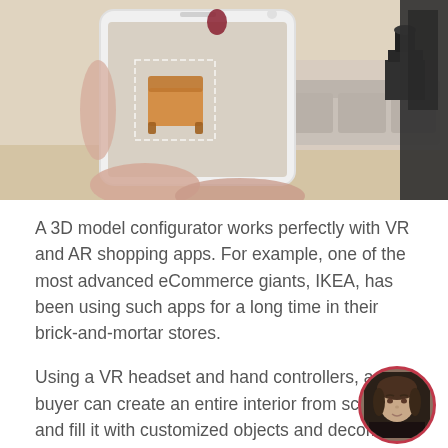[Figure (photo): A hand holding a smartphone displaying an AR shopping app showing furniture (orange chair) overlaid on a real room interior with sofa and side table]
A 3D model configurator works perfectly with VR and AR shopping apps. For example, one of the most advanced eCommerce giants, IKEA, has been using such apps for a long time in their brick-and-mortar stores.
Using a VR headset and hand controllers, a buyer can create an entire interior from scratch and fill it with customized objects and decor. In short, it's like building your ideal home but virtually.
No surprise, consumers get emotionally involved in the process of creating their own world in a 3D configurator. As a result, a buyer is 100% satisfied w... the scene and is ready to purchase all the items to...
[Figure (photo): Circular avatar portrait of a woman with dark hair against a dark background, with a red/pink circular border]